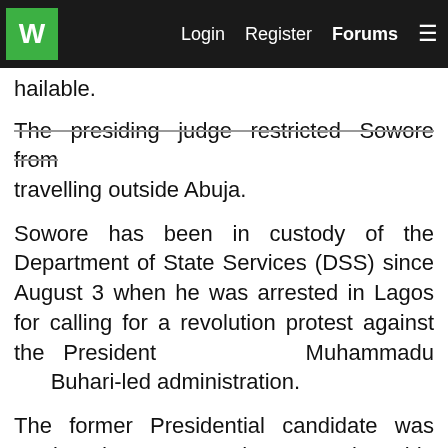W | Login  Register  Forums  ≡
hailable.
The presiding judge restricted Sowore from travelling outside Abuja.
Sowore has been in custody of the Department of State Services (DSS) since August 3 when he was arrested in Lagos for calling for a revolution protest against the President Muhammadu Buhari-led administration.
The former Presidential candidate was arraigned on September 30, alongside Olawale Bakare, his co-defendant, on a 7-count charge of felony brought against him by the federal government.
Recall that Justice Taiwo Taiwo of the same